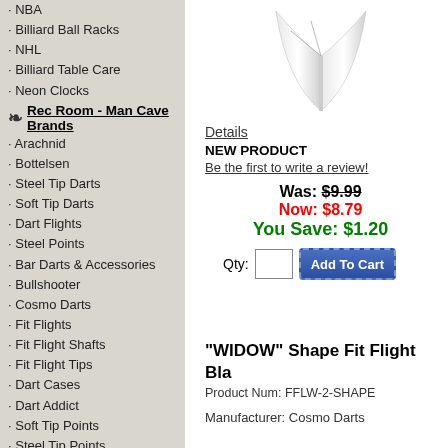NBA
Billiard Ball Racks
NHL
Billiard Table Care
Neon Clocks
Rec Room - Man Cave Brands
Arachnid
Bottelsen
Steel Tip Darts
Soft Tip Darts
Dart Flights
Steel Points
Bar Darts & Accessories
Bullshooter
Cosmo Darts
Fit Flights
Fit Flight Shafts
Fit Flight Tips
Dart Cases
Dart Addict
Soft Tip Points
Steel Tip Points
Steel Tip Darts
[Figure (photo): White dart flight product image]
Details
NEW PRODUCT
Be the first to write a review!
Was: $9.99
Now: $8.79
You Save: $1.20
Qty: Add To Cart
"WIDOW" Shape Fit Flight Bla
Product Num: FFLW-2-SHAPE
Manufacturer: Cosmo Darts